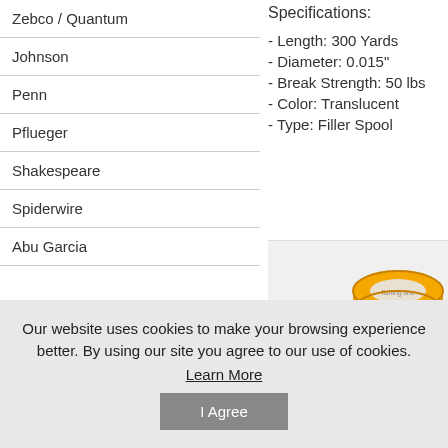Zebco / Quantum
Johnson
Penn
Pflueger
Shakespeare
Spiderwire
Abu Garcia
Specifications:
- Length: 300 Yards
- Diameter: 0.015"
- Break Strength: 50 lbs
- Color: Translucent
- Type: Filler Spool
[Figure (photo): Yellow fishing line spool product image]
Our website uses cookies to make your browsing experience better. By using our site you agree to our use of cookies.
Learn More
I Agree